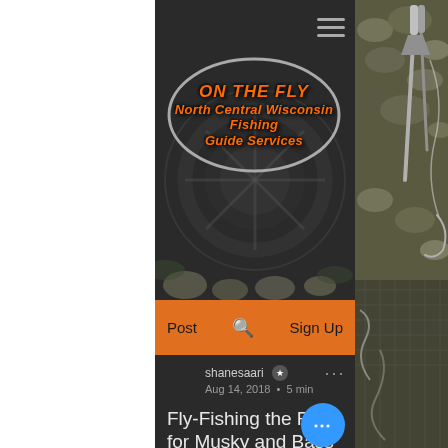[Figure (screenshot): Website screenshot of 'ON THE FLY - North Central Wisconsin Fishing Guide Services' blog page showing logo, navigation bar, author info, and article title 'Fly-Fishing the River for Musky and Bass - Getting Started']
ON THE FLY
North Central Wisconsin Fishing Guide Services
Post  Sign Up
shanesaari
Aug 14, 2018 · 5 min
Fly-Fishing the River for Musky and Bass -Getting Started